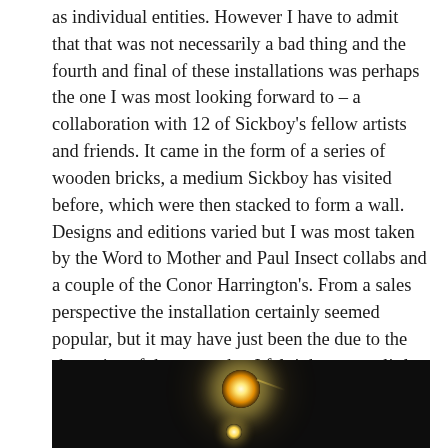as individual entities.  However I have to admit that that was not necessarily a bad thing and the fourth and final of these installations was perhaps the one I was most looking forward to – a collaboration with 12 of Sickboy's fellow artists and friends. It came in the form of a series of wooden bricks, a medium Sickboy has visited before, which were then stacked to form a wall. Designs and editions varied but I was most taken by the Word to Mother and Paul Insect collabs and a couple of the Conor Harrington's. From a sales perspective the installation certainly seemed popular, but it may have just been the due to the sheer size of the space that I felt it became a little lost, maybe it was the fact that the bricks were not over the top.  Nevertheless I really liked the concept and execution of the individual bricks.
[Figure (photo): Dark photograph with a bright light source glowing in the center against a very dark background, with a secondary smaller light visible at the bottom.]